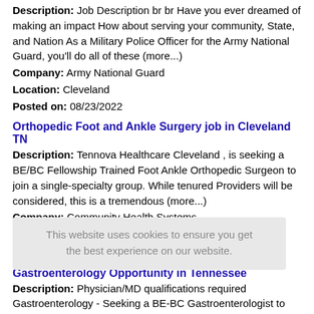Description: Job Description br br Have you ever dreamed of making an impact How about serving your community, State, and Nation As a Military Police Officer for the Army National Guard, you'll do all of these (more...)
Company: Army National Guard
Location: Cleveland
Posted on: 08/23/2022
Orthopedic Foot and Ankle Surgery job in Cleveland TN
Description: Tennova Healthcare Cleveland , is seeking a BE/BC Fellowship Trained Foot Ankle Orthopedic Surgeon to join a single-specialty group. While tenured Providers will be considered, this is a tremendous (more...)
Company: Community Health Systems
Location: Cleveland
Posted on: 08/23/2022
Gastroenterology Opportunity in Tennessee
Description: Physician/MD qualifications required Gastroenterology - Seeking a BE-BC Gastroenterologist to join a hospital group in the Foothills of the TN Mountains in the greater Chattanooga area. br Employed (more...)
Company: Necnic Group, LLC
Location: Cleveland